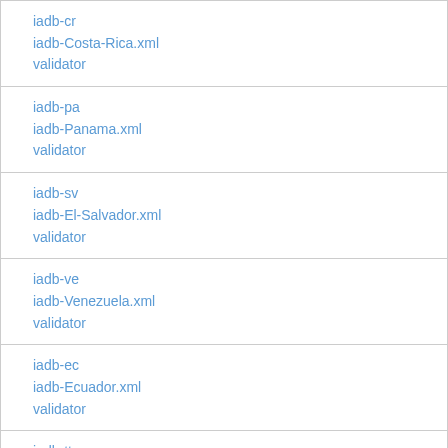| iadb-cr
iadb-Costa-Rica.xml
validator |
| iadb-pa
iadb-Panama.xml
validator |
| iadb-sv
iadb-El-Salvador.xml
validator |
| iadb-ve
iadb-Venezuela.xml
validator |
| iadb-ec
iadb-Ecuador.xml
validator |
| iadb-tt
iadb-Trinidad-and-Tobago.xml |